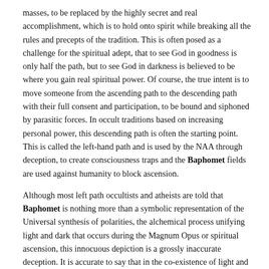masses, to be replaced by the highly secret and real accomplishment, which is to hold onto spirit while breaking all the rules and precepts of the tradition. This is often posed as a challenge for the spiritual adept, that to see God in goodness is only half the path, but to see God in darkness is believed to be where you gain real spiritual power. Of course, the true intent is to move someone from the ascending path to the descending path with their full consent and participation, to be bound and siphoned by parasitic forces. In occult traditions based on increasing personal power, this descending path is often the starting point. This is called the left-hand path and is used by the NAA through deception, to create consciousness traps and the Baphomet fields are used against humanity to block ascension.
Although most left path occultists and atheists are told that Baphomet is nothing more than a symbolic representation of the Universal synthesis of polarities, the alchemical process unifying light and dark that occurs during the Magnum Opus or spiritual ascension, this innocuous depiction is a grossly inaccurate deception. It is accurate to say that in the co-existence of light and darkness, life and the death passage are ultimately two sides of the same spiritual coin that are inseparable from each other in this matter realm. However, this basic awareness of the Natural Laws that include the cosmological understanding of Dualism, the Law of Polarity, as represented in the Baphomet Deception, is precariously incomplete without the comprehension that